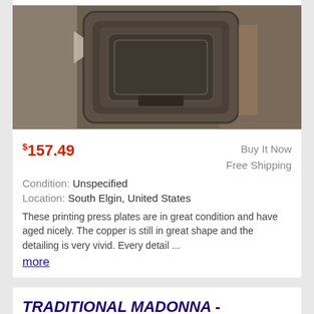[Figure (photo): Photo of printing press copper plates showing aged metallic surface with vivid detail]
$157.49
Buy It Now
Free Shipping
Condition: Unspecified
Location: South Elgin, United States
These printing press plates are in great condition and have aged nicely. The copper is still in great shape and the detailing is very vivid. Every detail ...
more
TRADITIONAL MADONNA - MARY BUST - STATUE - DAPRATO - (CHURCH STATUARY)
[Figure (photo): Partial photo of a golden Madonna statue bust from below]